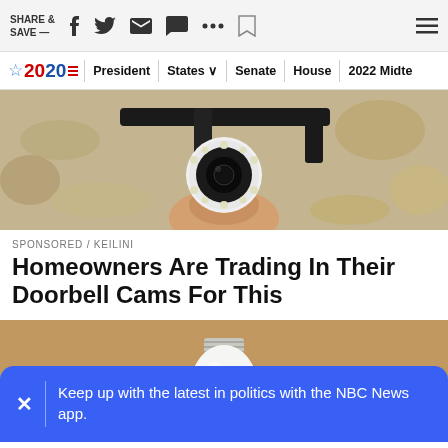SHARE & SAVE —
[Figure (screenshot): NBC News 2020 election navigation bar with President, States, Senate, House, 2022 Midterms links]
[Figure (photo): A security camera being installed on a wall, close-up view showing circular camera head with LED lights and black mounting bracket against textured wall]
SPONSORED / KEILINI
Homeowners Are Trading In Their Doorbell Cams For This
[Figure (photo): A hand holding a white light bulb-shaped security camera device near a ceiling fixture]
Keep up with the latest in politics with the NBC News app.